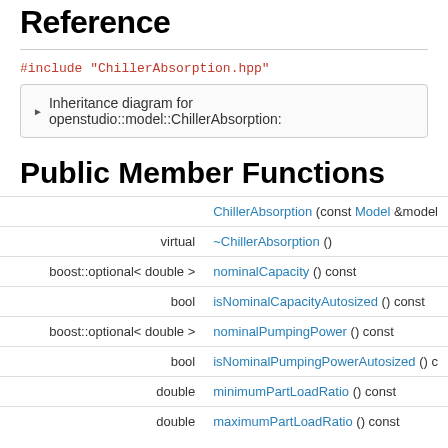Reference
▶ Inheritance diagram for openstudio::model::ChillerAbsorption:
Public Member Functions
| type | function |
| --- | --- |
|  | ChillerAbsorption (const Model &model |
| virtual | ~ChillerAbsorption () |
| boost::optional< double > | nominalCapacity () const |
| bool | isNominalCapacityAutosized () const |
| boost::optional< double > | nominalPumpingPower () const |
| bool | isNominalPumpingPowerAutosized () c |
| double | minimumPartLoadRatio () const |
| double | maximumPartLoadRatio () const |